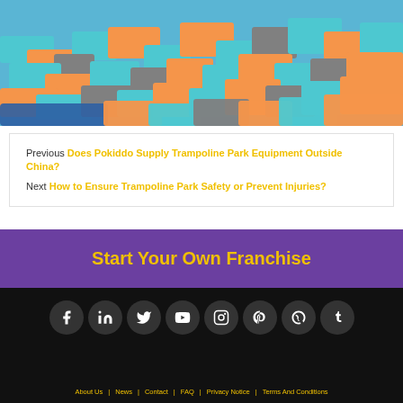[Figure (photo): Overhead view of a colorful foam pit at a trampoline park filled with orange, teal/cyan, and gray foam blocks with blue padded mats visible]
Previous: Does Pokiddo Supply Trampoline Park Equipment Outside China?
Next: How to Ensure Trampoline Park Safety or Prevent Injuries?
Start Your Own Franchise
About Us   News   Contact   FAQ   Privacy Notice   Terms And Conditions